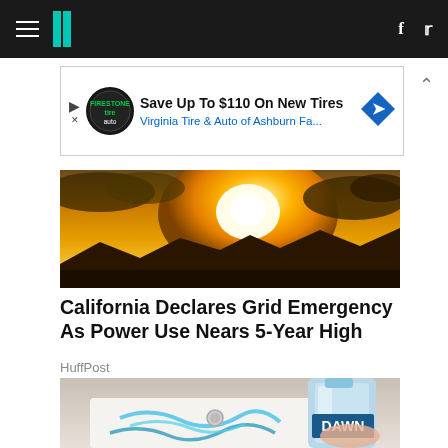HuffPost navigation bar with hamburger menu, logo, facebook and twitter icons
[Figure (screenshot): Advertisement banner: Save Up To $110 On New Tires - Virginia Tire & Auto of Ashburn Fa...]
[Figure (photo): Sunset landscape photo with bright golden sun behind clouds, silhouetted mountains at bottom]
California Declares Grid Emergency As Power Use Nears 5-Year High
HuffPost
[Figure (photo): Photo of a white bathtub with blue Dawn dish soap bottle being used to clean it]